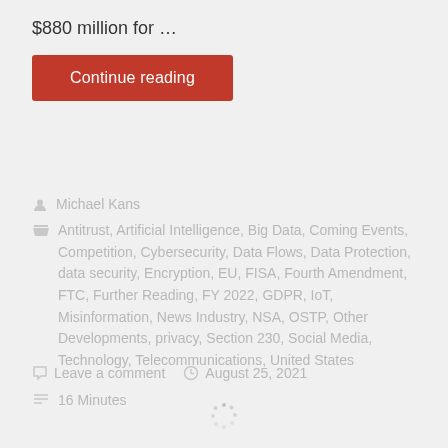$880 million for …
Continue reading
Michael Kans
Antitrust, Artificial Intelligence, Big Data, Coming Events, Competition, Cybersecurity, Data Flows, Data Protection, data security, Encryption, EU, FISA, Fourth Amendment, FTC, Further Reading, FY 2022, GDPR, IoT, Misinformation, News Industry, NSA, OSTP, Other Developments, privacy, Section 230, Social Media, Technology, Telecommunications, United States
Leave a comment   August 25, 2021
16 Minutes